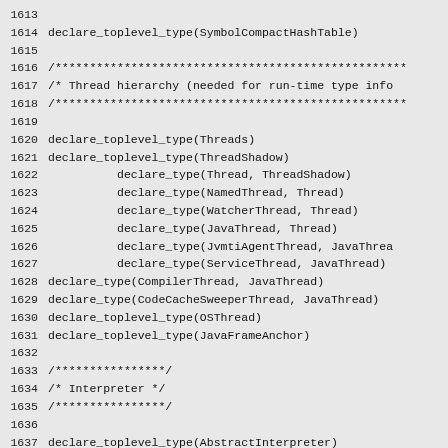Source code listing lines 1613-1642 showing declare_toplevel_type and declare_type calls for thread hierarchy types and interpreter/stubs sections